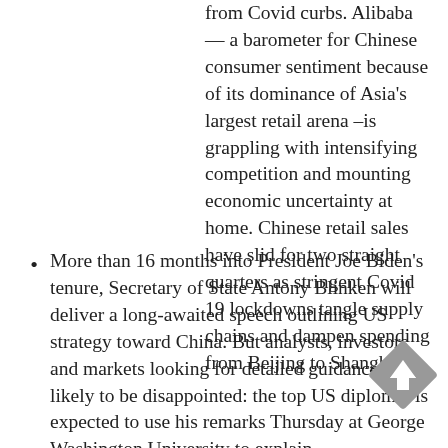from Covid curbs. Alibaba — a barometer for Chinese consumer sentiment because of its dominance of Asia's largest retail arena –is grappling with intensifying competition and mounting economic uncertainty at home. Chinese retail sales have slid for two straight quarters as stringent Covid 19 lockdowns tangle supply chains and dampen spending from Beijing to Shanghai.
More than 16 months into President Joe Biden's tenure, Secretary of State Antony Blinken will deliver a long-awaited speech outlining US strategy toward China. But analysts, investors and markets looking for detailed guidance are likely to be disappointed: the top US diplomat is expected to use his remarks Thursday at George Washington University to explain